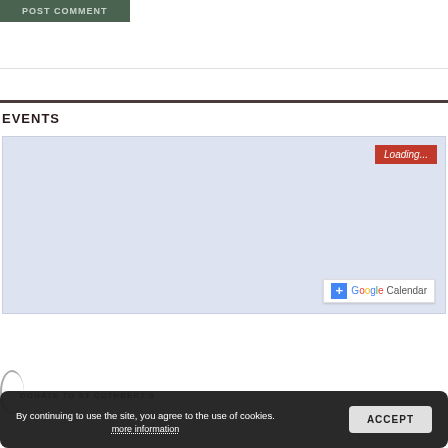[Figure (screenshot): POST COMMENT button in dark green with light text]
EVENTS
[Figure (screenshot): Google Calendar embed with light blue background, Loading... badge in red top right, and + Google Calendar button bottom right]
By continuing to use the site, you agree to the use of cookies. more information
ACCEPT